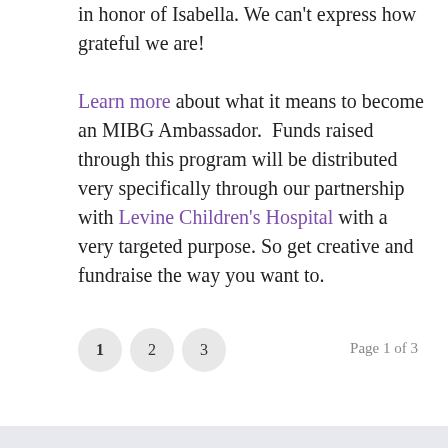in honor of Isabella. We can't express how grateful we are!

Learn more about what it means to become an MIBG Ambassador.  Funds raised through this program will be distributed very specifically through our partnership with Levine Children's Hospital with a very targeted purpose. So get creative and fundraise the way you want to.
1  2  3    Page 1 of 3